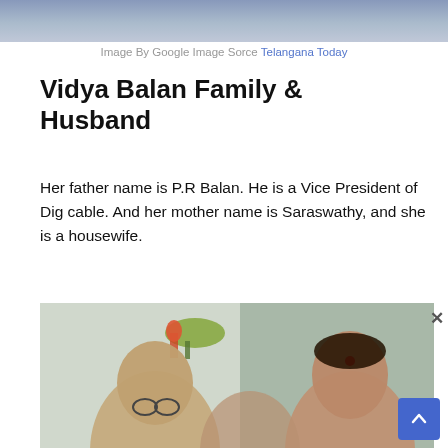[Figure (photo): Top cropped photo showing people in colorful clothing, partially visible]
Image By Google Image Sorce Telangana Today
Vidya Balan Family & Husband
Her father name is P.R Balan. He is a Vice President of Dig cable. And her mother name is Saraswathy, and she is a housewife.
[Figure (photo): Photo of Vidya Balan's family — an older man with glasses on the left, a woman with bindi on the right, partially cropped at bottom]
[Figure (other): Scroll-to-top blue button in bottom right corner]